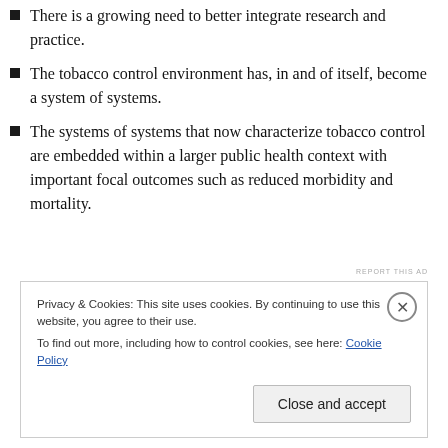There is a growing need to better integrate research and practice.
The tobacco control environment has, in and of itself, become a system of systems.
The systems of systems that now characterize tobacco control are embedded within a larger public health context with important focal outcomes such as reduced morbidity and mortality.
Privacy & Cookies: This site uses cookies. By continuing to use this website, you agree to their use. To find out more, including how to control cookies, see here: Cookie Policy